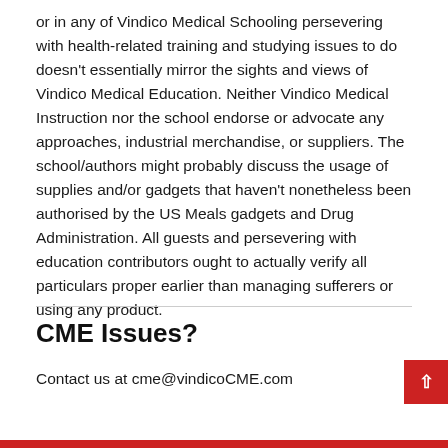or in any of Vindico Medical Schooling persevering with health-related training and studying issues to do doesn't essentially mirror the sights and views of Vindico Medical Education. Neither Vindico Medical Instruction nor the school endorse or advocate any approaches, industrial merchandise, or suppliers. The school/authors might probably discuss the usage of supplies and/or gadgets that haven't nonetheless been authorised by the US Meals gadgets and Drug Administration. All guests and persevering with education contributors ought to actually verify all particulars proper earlier than managing sufferers or using any product.
CME Issues?
Contact us at cme@vindicoCME.com